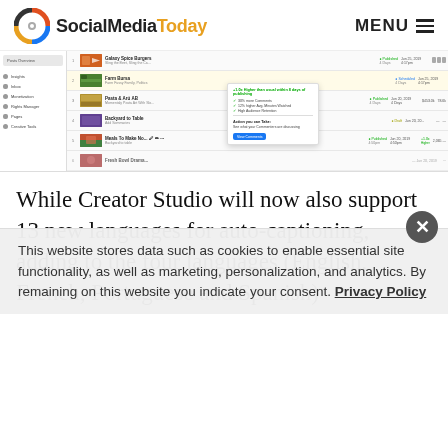SocialMediaToday | MENU
[Figure (screenshot): Screenshot of Facebook Creator Studio interface showing a list of video posts with their status (Published/Draft), dates, and performance metrics. A popup overlay shows '+1.0x Higher than usual within 8 days of publishing' with metrics: 30% more Comments, 12% higher Avg. Minutes Watched, High Audience Retention. Action section says 'See what your Commenters are discussing' with a 'View Comments' button.]
While Creator Studio will now also support 13 new languages for auto-captioning, adding to the four languages (English, French, Portuguese and Spanish)
This website stores data such as cookies to enable essential site functionality, as well as marketing, personalization, and analytics. By remaining on this website you indicate your consent. Privacy Policy